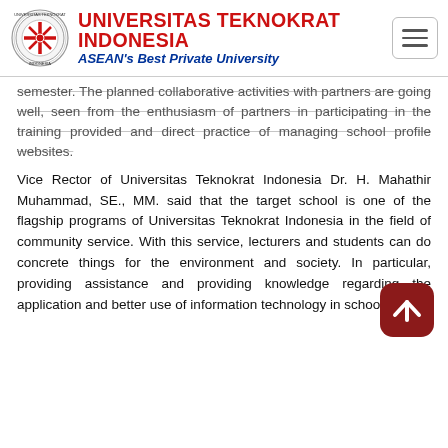UNIVERSITAS TEKNOKRAT INDONESIA — ASEAN's Best Private University
semester. The planned collaborative activities with partners are going well, seen from the enthusiasm of partners in participating in the training provided and direct practice of managing school profile websites.
Vice Rector of Universitas Teknokrat Indonesia Dr. H. Mahathir Muhammad, SE., MM. said that the target school is one of the flagship programs of Universitas Teknokrat Indonesia in the field of community service. With this service, lecturers and students can do concrete things for the environment and society. In particular, providing assistance and providing knowledge regarding the application and better use of information technology in schools.